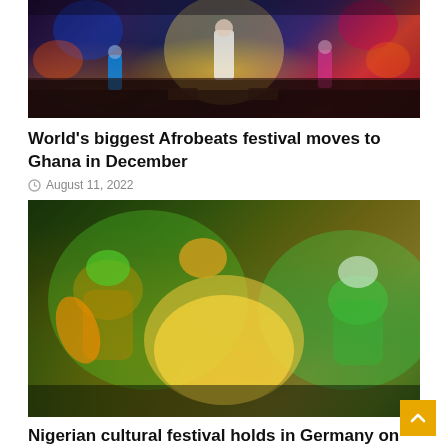[Figure (photo): Concert stage photo showing a performer in the center with colorful stage lighting including orange, yellow, and pink lights. Dark background with audience visible.]
World's biggest Afrobeats festival moves to Ghana in December
August 11, 2022
[Figure (photo): Nigerian cultural festival dancers performing in traditional clothing. Women dressed in colorful yellow and green garments dancing under green-tinted stage lighting.]
Nigerian cultural festival holds in Germany on Saturday